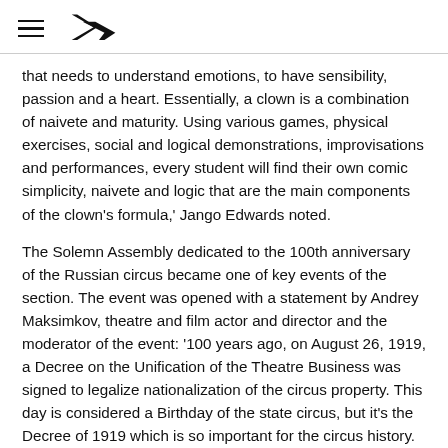[hamburger menu icon] [logo: angular arrow/play symbol]
that needs to understand emotions, to have sensibility, passion and a heart. Essentially, a clown is a combination of naivete and maturity. Using various games, physical exercises, social and logical demonstrations, improvisations and performances, every student will find their own comic simplicity, naivete and logic that are the main components of the clown's formula,' Jango Edwards noted.
The Solemn Assembly dedicated to the 100th anniversary of the Russian circus became one of key events of the section. The event was opened with a statement by Andrey Maksimkov, theatre and film actor and director and the moderator of the event: '100 years ago, on August 26, 1919, a Decree on the Unification of the Theatre Business was signed to legalize nationalization of the circus property. This day is considered a Birthday of the state circus, but it's the Decree of 1919 which is so important for the circus history. It was the year when People's Commissar Lunacharsky